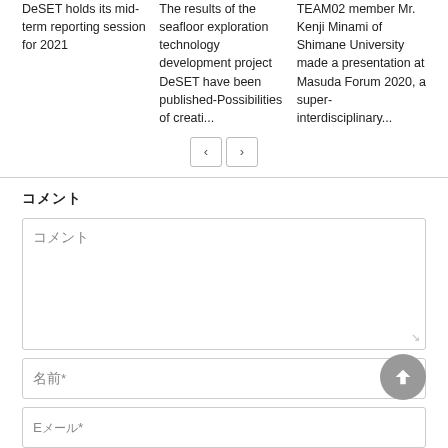DeSET holds its mid-term reporting session for 2021
The results of the seafloor exploration technology development project DeSET have been published-Possibilities of creati...
TEAM02 member Mr. Kenji Minami of Shimane University made a presentation at Masuda Forum 2020, a super-interdisciplinary...
< >
コメント
コメント（placeholder textarea)
名前*
Eメール*